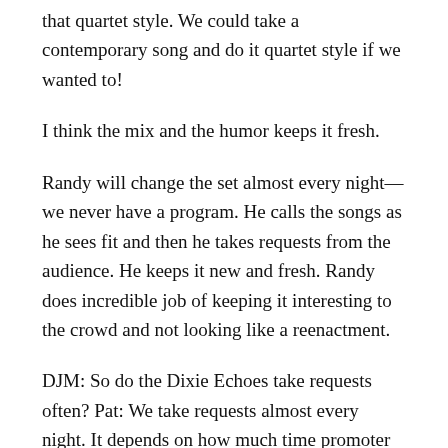that quartet style. We could take a contemporary song and do it quartet style if we wanted to!
I think the mix and the humor keeps it fresh.
Randy will change the set almost every night—we never have a program. He calls the songs as he sees fit and then he takes requests from the audience. He keeps it new and fresh. Randy does incredible job of keeping it interesting to the crowd and not looking like a reenactment.
DJM: So do the Dixie Echoes take requests often? Pat: We take requests almost every night. It depends on how much time promoter gives us. We'll typically do it in church settings, but rarely in concert venues.